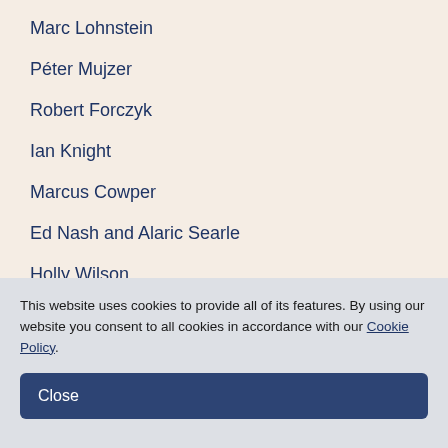Marc Lohnstein
Péter Mujzer
Robert Forczyk
Ian Knight
Marcus Cowper
Ed Nash and Alaric Searle
Holly Wilson
Molly Chell
Barrett Tillman
Klaas Castelain and Michel Wenting
This website uses cookies to provide all of its features. By using our website you consent to all cookies in accordance with our Cookie Policy.
Close